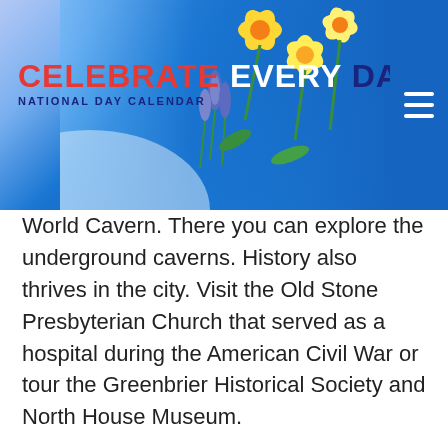[Figure (logo): Celebrate Every Day - National Day Calendar website header with flowers background and hamburger menu icon]
World Cavern. There you can explore the underground caverns. History also thrives in the city. Visit the Old Stone Presbyterian Church that served as a hospital during the American Civil War or tour the Greenbrier Historical Society and North House Museum.
Fayetteville
Located next to the nation’s newest national park, Fayetteville may be small, but it has a big